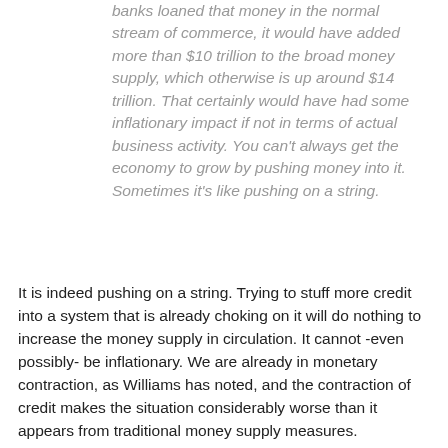banks loaned that money in the normal stream of commerce, it would have added more than $10 trillion to the broad money supply, which otherwise is up around $14 trillion. That certainly would have had some inflationary impact if not in terms of actual business activity. You can't always get the economy to grow by pushing money into it. Sometimes it's like pushing on a string.
It is indeed pushing on a string. Trying to stuff more credit into a system that is already choking on it will do nothing to increase the money supply in circulation. It cannot -even possibly- be inflationary. We are already in monetary contraction, as Williams has noted, and the contraction of credit makes the situation considerably worse than it appears from traditional money supply measures. Contraction is being aggravated by a fall in the velocity of money, as people, companies and banks hang on to what